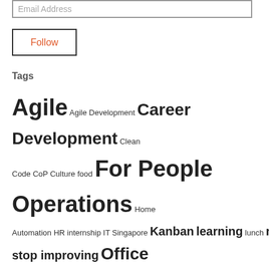[Figure (other): Email address input field with placeholder text]
[Figure (other): Follow button with orange text and black border]
Tags
Agile Agile Development Career Development Clean Code CoP Culture food For People Operations Home Automation HR internship IT Singapore Kanban learning lunch never stop improving Office Culture Problem Solving Product developer Product Owner project management Scrum software development Technology TiQuality TitanerJourney Training User Experience value added service work environment